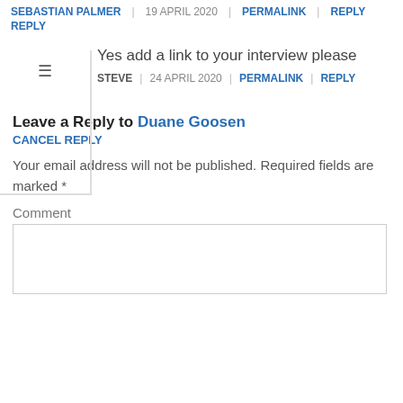SEBASTIAN PALMER | 19 APRIL 2020 | PERMALINK | REPLY
Yes add a link to your interview please
STEVE | 24 APRIL 2020 | PERMALINK | REPLY
LEAVE A REPLY TO DUANE GOOSEN
CANCEL REPLY
Your email address will not be published. Required fields are marked *
Comment